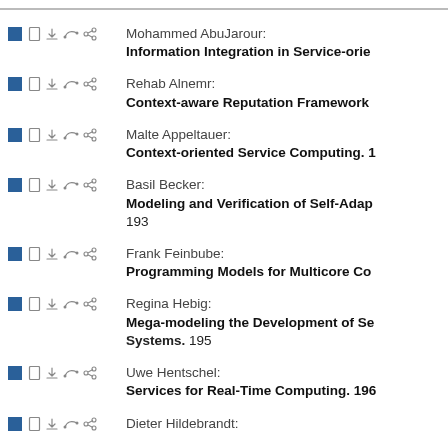Mohammed AbuJarour: Information Integration in Service-orie...
Rehab Alnemr: Context-aware Reputation Framework...
Malte Appeltauer: Context-oriented Service Computing. ...
Basil Becker: Modeling and Verification of Self-Adap... 193
Frank Feinbube: Programming Models for Multicore Co...
Regina Hebig: Mega-modeling the Development of Se... Systems. 195
Uwe Hentschel: Services for Real-Time Computing. 196
Dieter Hildebrandt: